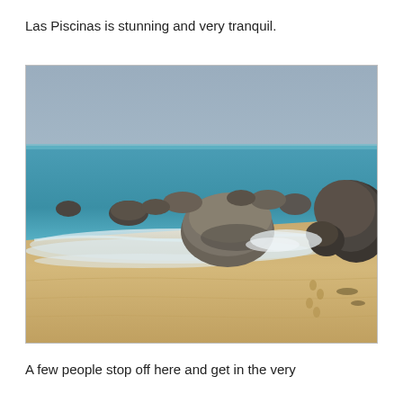Las Piscinas is stunning and very tranquil.
[Figure (photo): A beach scene at Las Piscinas showing sandy shore in the foreground, turquoise ocean waves with white foam in the middle, and large dark granite boulders scattered along the shoreline. The sky is hazy blue-grey. The photo is taken from low angle on the sand looking toward the water and rocks.]
A few people stop off here and get in the very